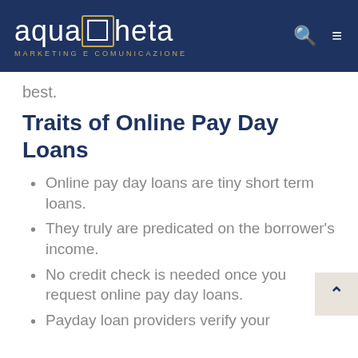aquaCheta MARKETING E COMUNICAZIONE
best.
Traits of Online Pay Day Loans
Online pay day loans are tiny short term loans.
They truly are predicated on the borrower's income.
No credit check is needed once you request online pay day loans.
Payday loan providers verify your